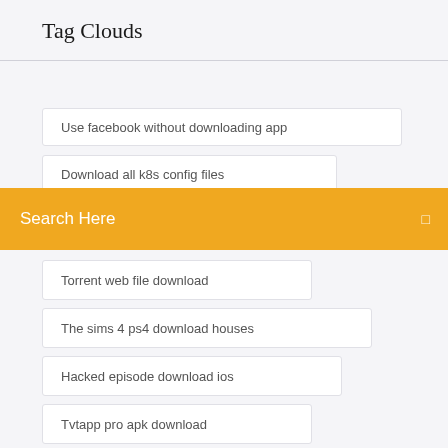Tag Clouds
Use facebook without downloading app
Download all k8s config files
Search Here
Torrent web file download
The sims 4 ps4 download houses
Hacked episode download ios
Tvtapp pro apk download